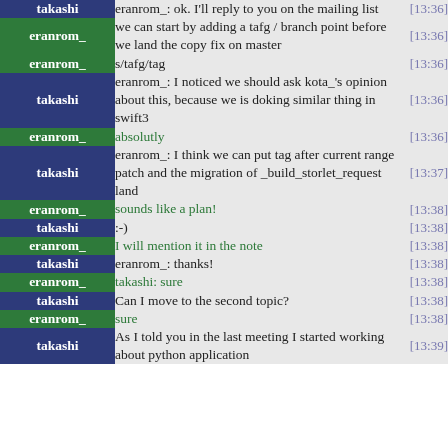| user | message | time |
| --- | --- | --- |
| takashi | eranrom_: ok. I'll reply to you on the mailing list | [13:36] |
| eranrom_ | we can start by adding a tafg / branch point before we land the copy fix on master | [13:36] |
| eranrom_ | s/tafg/tag | [13:36] |
| takashi | eranrom_: I noticed we should ask kota_'s opinion about this, because we is doking similar thing in swift3 | [13:36] |
| eranrom_ | absolutly | [13:36] |
| takashi | eranrom_: I think we can put tag after current range patch and the migration of _build_storlet_request land | [13:37] |
| eranrom_ | sounds like a plan! | [13:38] |
| takashi | :-) | [13:38] |
| eranrom_ | I will mention it in the note | [13:38] |
| takashi | eranrom_: thanks! | [13:38] |
| eranrom_ | takashi: sure | [13:38] |
| takashi | Can I move to the second topic? | [13:38] |
| eranrom_ | sure | [13:38] |
| takashi | As I told you in the last meeting I started working about python application | [13:39] |